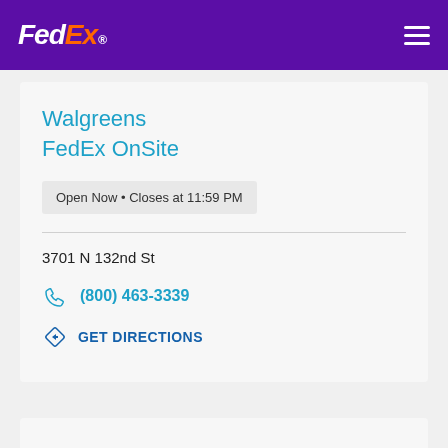[Figure (logo): FedEx logo in white and orange on purple header background, with hamburger menu icon]
Walgreens FedEx OnSite
Open Now • Closes at 11:59 PM
3701 N 132nd St
(800) 463-3339
GET DIRECTIONS